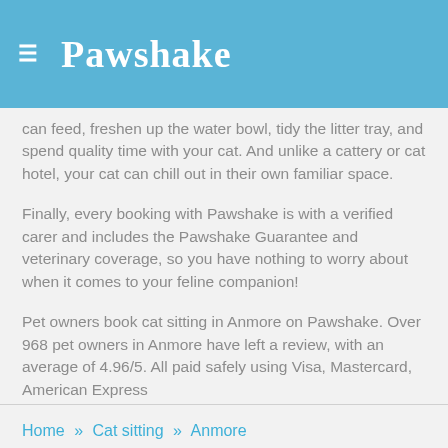Pawshake
can feed, freshen up the water bowl, tidy the litter tray, and spend quality time with your cat. And unlike a cattery or cat hotel, your cat can chill out in their own familiar space.
Finally, every booking with Pawshake is with a verified carer and includes the Pawshake Guarantee and veterinary coverage, so you have nothing to worry about when it comes to your feline companion!
Pet owners book cat sitting in Anmore on Pawshake. Over 968 pet owners in Anmore have left a review, with an average of 4.96/5. All paid safely using Visa, Mastercard, American Express
Home » Cat sitting » Anmore